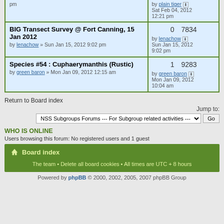| Topic | Replies | Views | Last post |
| --- | --- | --- | --- |
| BIG Transect Survey @ Fort Canning, 15 Jan 2012
by lenachow » Sun Jan 15, 2012 9:02 pm | 0 | 7834 | by lenachow
Sun Jan 15, 2012 9:02 pm |
| Species #54 : Cuphaerymanthis (Rustic)
by green baron » Mon Jan 09, 2012 12:15 am | 1 | 9283 | by green baron
Mon Jan 09, 2012 10:04 am |
Return to Board index
Jump to:
WHO IS ONLINE
Users browsing this forum: No registered users and 1 guest
Board index
The team • Delete all board cookies • All times are UTC + 8 hours
Powered by phpBB © 2000, 2002, 2005, 2007 phpBB Group